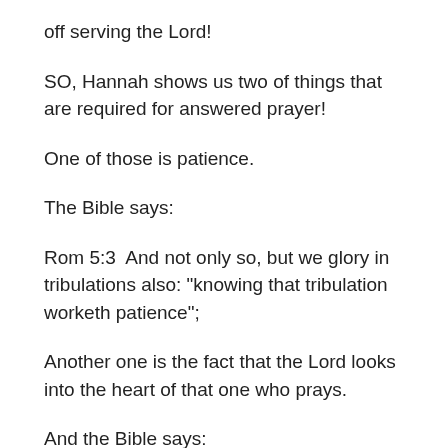off serving the Lord!
SO, Hannah shows us two of things that are required for answered prayer!
One of those is patience.
The Bible says:
Rom 5:3  And not only so, but we glory in tribulations also: "knowing that tribulation worketh patience";
Another one is the fact that the Lord looks into the heart of that one who prays.
And the Bible says: